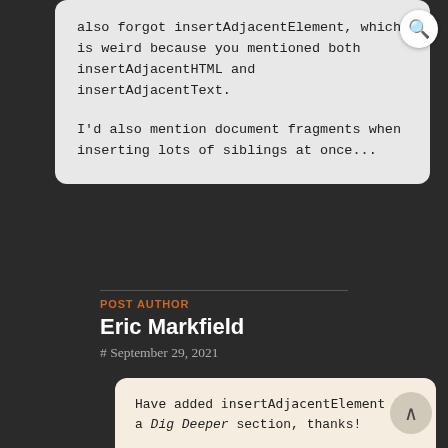also forgot insertAdjacentElement, which is weird because you mentioned both insertAdjacentHTML and insertAdjacentText.

I'd also mention document fragments when inserting lots of siblings at once...
Reply
POST AUTHOR
Eric Markfield
# September 29, 2021
Have added insertAdjacentElement to a Dig Deeper section, thanks!

And good idea on document fragments – would be interesting to compare